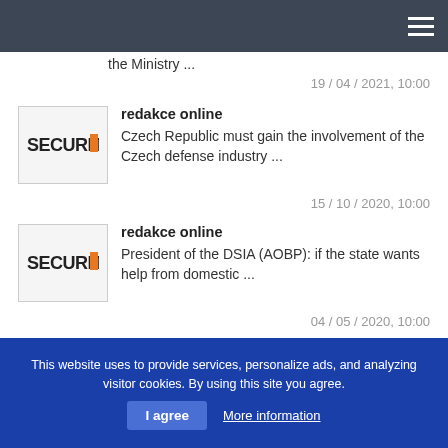the Ministry ...
19 / 04 / 2021, 10:00
redakce online
Czech Republic must gain the involvement of the Czech defense industry ...
15 / 10 / 2020, 10:00
redakce online
President of the DSIA (AOBP): if the state wants help from domestic ...
04 / 05 / 2020, 10:00
[Figure (logo): KIA Certified Pre-Owned banner advertisement on black background]
This website uses to provide services, personalize ads, and analyzing visitor cookies. By using this site you agree.
I agree
More information